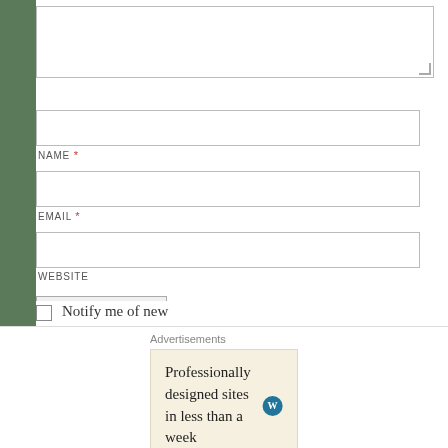[Figure (screenshot): Top portion of a web comment form showing a textarea box with resize handle at top of page]
NAME *
EMAIL *
WEBSITE
Post Comment
Notify me of new comments via email.
Advertisements
Professionally designed sites in less than a week